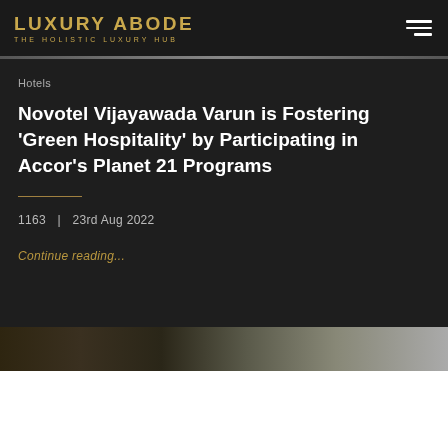LUXURY ABODE THE HOLISTIC LUXURY HUB
Hotels
Novotel Vijayawada Varun is Fostering 'Green Hospitality' by Participating in Accor's Planet 21 Programs
1163 | 23rd Aug 2022
Continue reading...
[Figure (photo): Partial image strip showing hotel exterior thumbnails at the bottom of the article card]